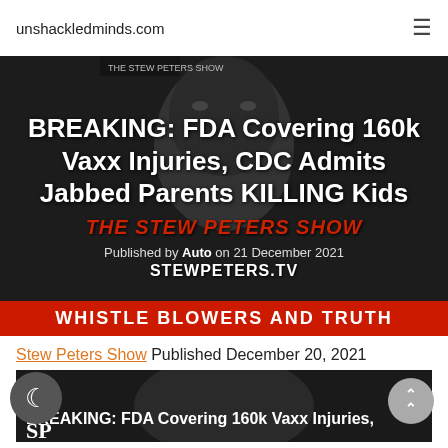unshackledminds.com
[Figure (screenshot): Hero image for article: BREAKING: FDA Covering 160k Vaxx Injuries, CDC Admits Jabbed Parents KILLING Kids. Shows a man's face in black and white, with The Stew Peters Show branding in red, STEWPETERS.TV logo, and a red banner at bottom reading WHISTLE BLOWERS AND TRUTH. Published by Auto on 21 December 2021.]
Stew Peters Show Published December 20, 2021
[Figure (screenshot): Partial video thumbnail showing the title BREAKING: FDA Covering 160k Vaxx Injuries with SP logo in white at bottom left.]